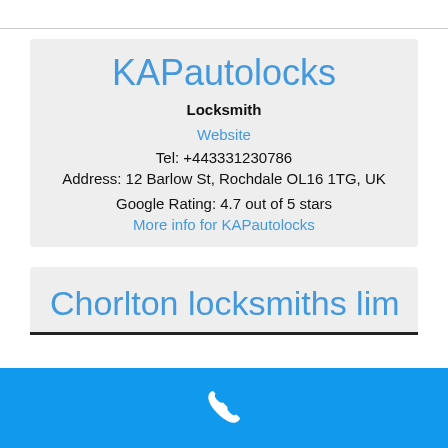KAPautolocks
Locksmith
Website
Tel: +443331230786
Address: 12 Barlow St, Rochdale OL16 1TG, UK
Google Rating: 4.7 out of 5 stars
More info for KAPautolocks
Chorlton locksmiths limited